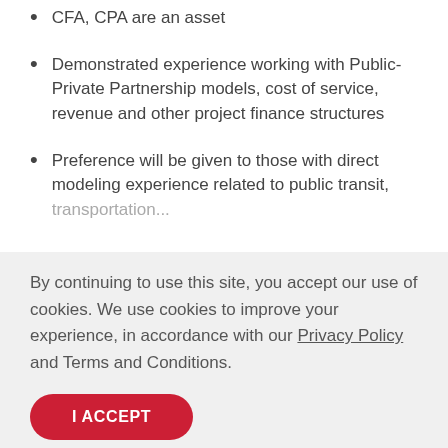CFA, CPA are an asset
Demonstrated experience working with Public-Private Partnership models, cost of service, revenue and other project finance structures
Preference will be given to those with direct modeling experience related to public transit, transportation...
By continuing to use this site, you accept our use of cookies. We use cookies to improve your experience, in accordance with our Privacy Policy and Terms and Conditions.
I ACCEPT